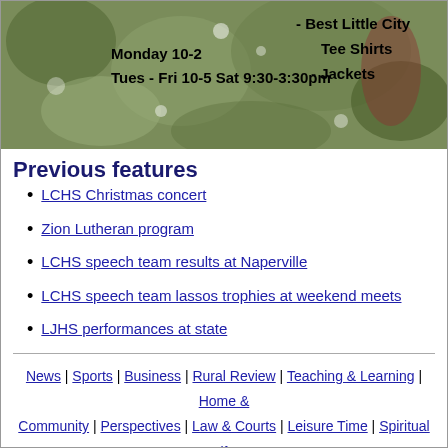[Figure (photo): Banner image with decorative background and text showing store hours: Monday 10-2, Tues - Fri 10-5, Sat 9:30-3:30pm, and items: Best Little City Tee Shirts, Jackets]
Previous features
LCHS Christmas concert
Zion Lutheran program
LCHS speech team results at Naperville
LCHS speech team lassos trophies at weekend meets
LJHS performances at state
News | Sports | Business | Rural Review | Teaching & Learning | Home & Community | Perspectives | Law & Courts | Leisure Time | Spiritual Life | Calendar | Letters to the Editor